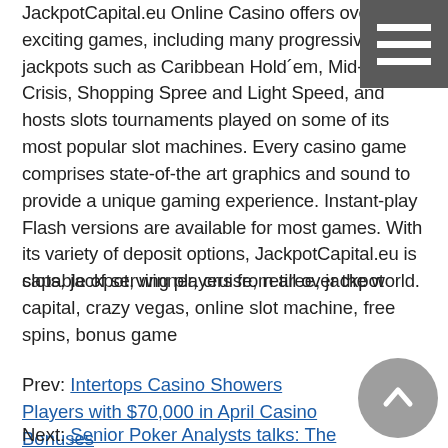JackpotCapital.eu Online Casino offers over 500 exciting games, including many progressive jackpots such as Caribbean Hold´em, Mid-Life Crisis, Shopping Spree and Light Speed, and hosts slots tournaments played on some of its most popular slot machines. Every casino game comprises state-of-the art graphics and sound to provide a unique gaming experience. Instant-play Flash versions are available for most games. With its variety of deposit options, JackpotCapital.eu is capable of serving players from all over the world.
slots, jackpot, winner, cruise, retiree, jackpot capital, crazy vegas, online slot machine, free spins, bonus game
Prev: Intertops Casino Showers Players with $70,000 in April Casino Bonuses
Next: Senior Poker Analysts talks: The